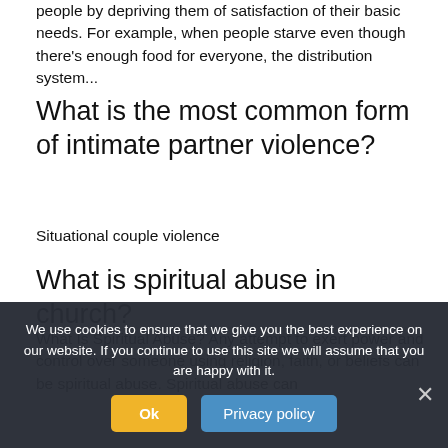people by depriving them of satisfaction of their basic needs. For example, when people starve even though there's enough food for everyone, the distribution system...
What is the most common form of intimate partner violence?
Situational couple violence
What is spiritual abuse in church?
What Is Spiritual Abuse? Any attempt to exert power and control over someone using religion, faith, or beliefs can be spiritual abuse. Spiritual abuse can
We use cookies to ensure that we give you the best experience on our website. If you continue to use this site we will assume that you are happy with it.